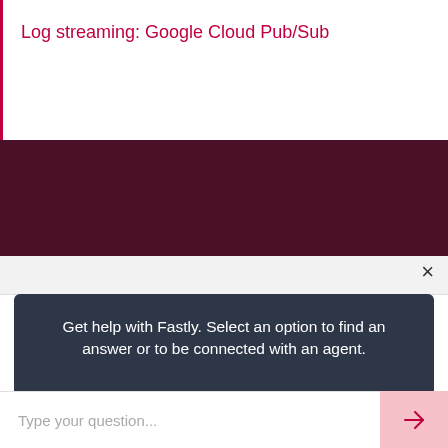Log streaming: Google Cloud Pub/Sub
[Figure (screenshot): Dark maroon/purple banner background strip]
×
[Figure (screenshot): Dark chat panel with message: Get help with Fastly. Select an option to find an answer or to be connected with an agent. Two buttons: Fastly setup and Trouble with service or account.]
Get help with Fastly. Select an option to find an answer or to be connected with an agent.
Fastly setup
Trouble with service or account
Type your question...